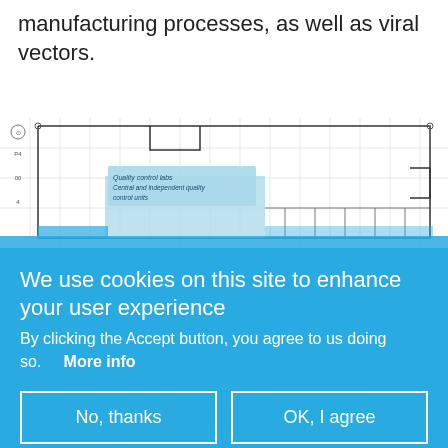manufacturing processes, as well as viral vectors.
[Figure (schematic): Partial floor plan / architectural schematic showing a building layout with a highlighted blue section labeled 'Quality control labs – Central and independent quality control units'.]
We use cookies on this site to enhance your user experience
By clicking the Accept button, you agree to us doing so.  More info
No, thanks
OK, I agree